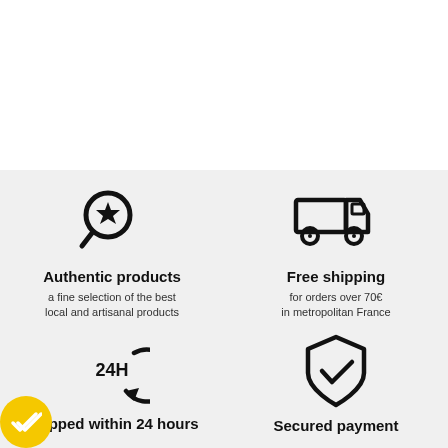[Figure (illustration): Magnifying glass with star icon representing authentic products]
Authentic products
a fine selection of the best local and artisanal products
[Figure (illustration): Delivery truck icon representing free shipping]
Free shipping
for orders over 70€ in metropolitan France
[Figure (illustration): 24H circular arrow icon representing shipped within 24 hours]
Shipped within 24 hours
[Figure (illustration): Shield with checkmark icon representing secured payment]
Secured payment
[Figure (illustration): Yellow circular badge with double checkmark]